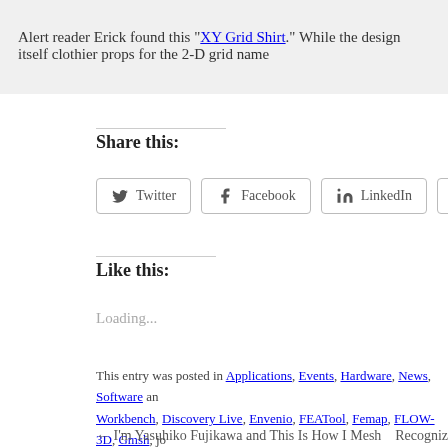Alert reader Erick found this "XY Grid Shirt." While the design itself clothier props for the 2-D grid name
Share this:
Twitter Facebook LinkedIn Email
Like this:
Loading...
This entry was posted in Applications, Events, Hardware, News, Software and Workbench, Discovery Live, Envenio, FEATool, Femap, FLOW-3D, Gmsh, jo Siemens PLM, SolidWorks, visualization, XFlow, zCFD. Bookmark the perma
← I'm Yasuhiko Fujikawa and This Is How I Mesh    Recogniz